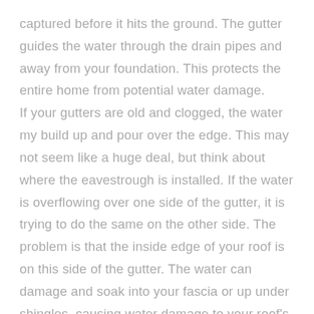captured before it hits the ground. The gutter guides the water through the drain pipes and away from your foundation. This protects the entire home from potential water damage. If your gutters are old and clogged, the water my build up and pour over the edge. This may not seem like a huge deal, but think about where the eavestrough is installed. If the water is overflowing over one side of the gutter, it is trying to do the same on the other side. The problem is that the inside edge of your roof is on this side of the gutter. The water can damage and soak into your fascia or up under shingles, causing water damage to your roof's